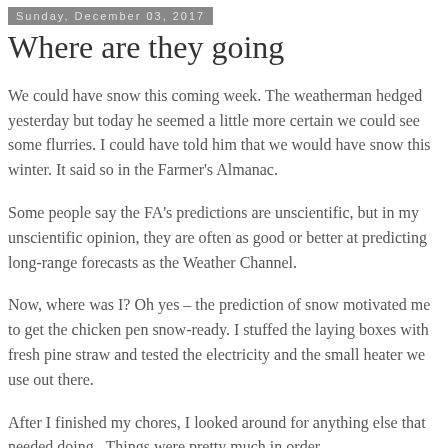Sunday, December 03, 2017
Where are they going
We could have snow this coming week. The weatherman hedged yesterday but today he seemed a little more certain we could see some flurries. I could have told him that we would have snow this winter. It said so in the Farmer's Almanac.
Some people say the FA's predictions are unscientific, but in my unscientific opinion, they are often as good or better at predicting long-range forecasts as the Weather Channel.
Now, where was I? Oh yes – the prediction of snow motivated me to get the chicken pen snow-ready. I stuffed the laying boxes with fresh pine straw and tested the electricity and the small heater we use out there.
After I finished my chores, I looked around for anything else that needed doing.  Things were pretty much in order.
I looked up at the evening sky before heading inside and I saw the contrail of an airplane headed west. I wasn't sure if there was